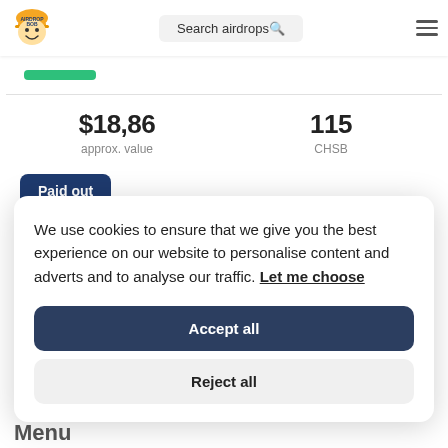[Figure (logo): Airdrop Bob logo — cartoon face with yellow hard hat]
Search airdrops🔍
[Figure (other): Hamburger menu icon]
[Figure (other): Green progress bar indicator]
$18,86
approx. value
115
CHSB
Paid out
We use cookies to ensure that we give you the best experience on our website to personalise content and adverts and to analyse our traffic. Let me choose
Accept all
Reject all
Menu